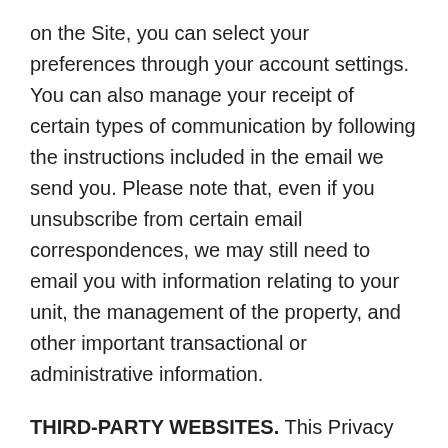on the Site, you can select your preferences through your account settings. You can also manage your receipt of certain types of communication by following the instructions included in the email we send you. Please note that, even if you unsubscribe from certain email correspondences, we may still need to email you with information relating to your unit, the management of the property, and other important transactional or administrative information.
THIRD-PARTY WEBSITES. This Privacy Policy applies solely to information collected by Company. This Privacy Policy does not apply to other websites that are accessible through this Site, including but not limited to any third-party websites.